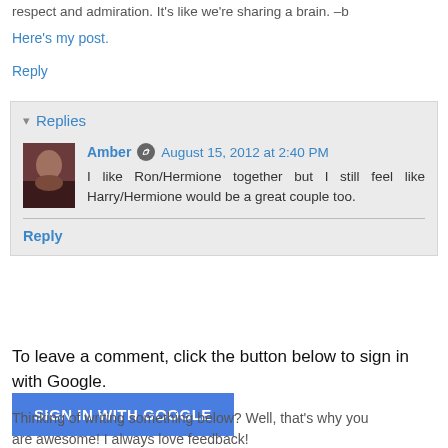respect and admiration. It's like we're sharing a brain. –b
Here's my post.
Reply
▾ Replies
Amber  August 15, 2012 at 2:40 PM
I like Ron/Hermione together but I still feel like Harry/Hermione would be a great couple too.
Reply
To leave a comment, click the button below to sign in with Google.
SIGN IN WITH GOOGLE
Thinking of writing something below? Well, that's why you are awesome! I always love feedback!